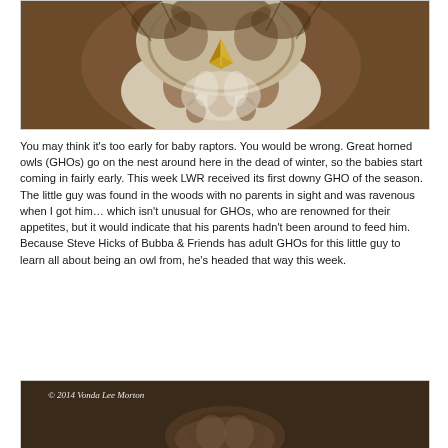[Figure (photo): Close-up photograph of an owl (Great Horned Owl) showing its face and chest feathers with a yellow beak, brown and white mottled plumage, viewed from above/front.]
You may think it's too early for baby raptors. You would be wrong. Great horned owls (GHOs) go on the nest around here in the dead of winter, so the babies start coming in fairly early. This week LWR received its first downy GHO of the season. The little guy was found in the woods with no parents in sight and was ravenous when I got him… which isn't unusual for GHOs, who are renowned for their appetites, but it would indicate that his parents hadn't been around to feed him. Because Steve Hicks of Bubba & Friends has adult GHOs for this little guy to learn all about being an owl from, he's headed that way this week.
[Figure (photo): Photograph of an owl in a dark setting with a copyright watermark reading '© 2014 Vonda Lee Morton' in italic text.]
© 2014 Vonda Lee Morton